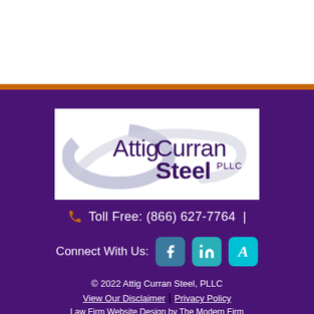[Figure (logo): Attig Curran Steel PLLC law firm logo — white rounded rectangle with swoosh graphic and firm name in dark purple text]
📞 Toll Free: (866) 627-7764  |
Connect With Us: [Facebook] [LinkedIn] [Avvo]
© 2022 Attig Curran Steel, PLLC
View Our Disclaimer | Privacy Policy
Law Firm Website Design by The Modern Firm